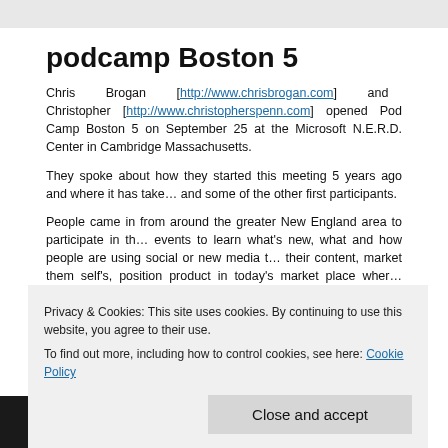podcamp Boston 5
Chris Brogan [http://www.chrisbrogan.com] and Christopher [http://www.christopherspenn.com] opened Pod Camp Boston 5 on September 25 at the Microsoft N.E.R.D. Center in Cambridge Massachusetts.
They spoke about how they started this meeting 5 years ago and where it has taken and some of the other first participants.
People came in from around the greater New England area to participate in the events to learn what's new, what and how people are using social or new media to their content, market them self's, position product in today's market place where everything else" as said by Georgy Cohen [http://georgycohen.com] in one of sessions.
By: bruceKgarber.com [http://bruceKgarber.com]
(video's below)
part 1 of 2
[Figure (photo): Dark video thumbnail]
Privacy & Cookies: This site uses cookies. By continuing to use this website, you agree to their use.
To find out more, including how to control cookies, see here: Cookie Policy
Close and accept